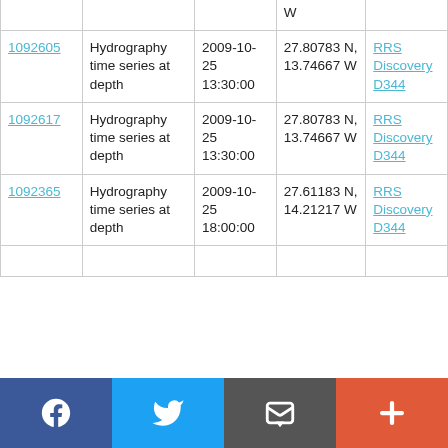| ID | Type | Date | Location | Vessel |
| --- | --- | --- | --- | --- |
|  |  |  | W |  |
| 1092605 | Hydrography time series at depth | 2009-10-25 13:30:00 | 27.80783 N, 13.74667 W | RRS Discovery D344 |
| 1092617 | Hydrography time series at depth | 2009-10-25 13:30:00 | 27.80783 N, 13.74667 W | RRS Discovery D344 |
| 1092365 | Hydrography time series at depth | 2009-10-25 18:00:00 | 27.61183 N, 14.21217 W | RRS Discovery D344 |